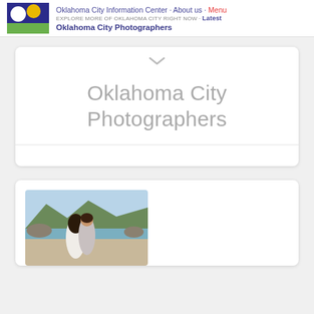Oklahoma City Information Center · About us · Menu
EXPLORE MORE OF OKLAHOMA CITY RIGHT NOW · Latest
Oklahoma City Photographers
Oklahoma City Photographers
[Figure (photo): A couple embracing outdoors near a rocky coastal landscape with water and hills in the background. The woman has long dark hair and wears a white dress; the man is behind her.]